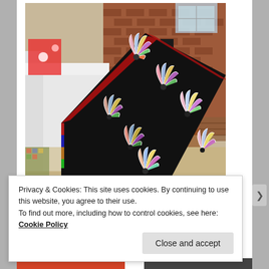[Figure (photo): A colorful patchwork/fan quilt with black background and multicolored fan blocks draped over a white sofa/chair in a living room with a brick fireplace and wood-burning stove in the background.]
Privacy & Cookies: This site uses cookies. By continuing to use this website, you agree to their use.
To find out more, including how to control cookies, see here: Cookie Policy